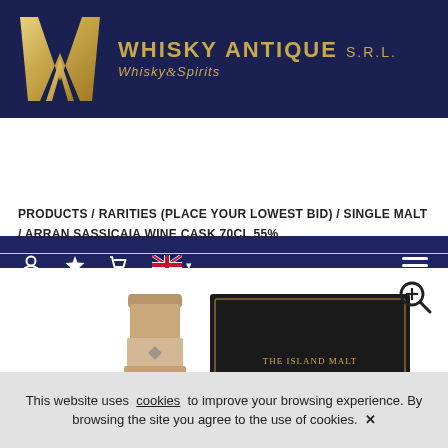[Figure (logo): Whisky Antique S.R.L. logo with golden W lettermark on dark navy background and company name in gold text]
[Figure (other): Navigation bar with user icon, star icon, cart icon, UK flag with dropdown caret, and hamburger menu on navy background]
PRODUCTS / RARITIES (PLACE YOUR LOWEST BID) / SINGLE MALT / ARRAN SASSICAIA WINE CASK 70CL 55%
[Figure (photo): Product photo showing an Arran whisky bottle top and a dark box packaging for Arran Sassicaia Wine Cask, Distilled 1995, with a zoom magnifier icon in top right]
This website uses cookies to improve your browsing experience. By browsing the site you agree to the use of cookies. ✕